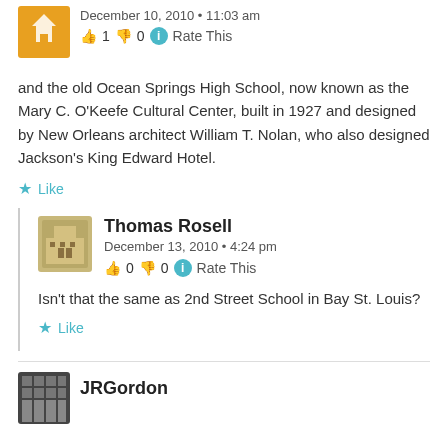December 10, 2010 • 11:03 am
👍 1 👎 0 ℹ Rate This
and the old Ocean Springs High School, now known as the Mary C. O'Keefe Cultural Center, built in 1927 and designed by New Orleans architect William T. Nolan, who also designed Jackson's King Edward Hotel.
★ Like
Thomas Rosell
December 13, 2010 • 4:24 pm
👍 0 👎 0 ℹ Rate This
Isn't that the same as 2nd Street School in Bay St. Louis?
★ Like
JRGordon